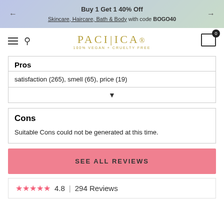Buy 1 Get 1 40% Off Skincare, Haircare, Bath & Body with code BOGO40
[Figure (logo): Pacifica brand logo with text '100% VEGAN + CRUELTY FREE']
Pros
satisfaction (265), smell (65), price (19)
Cons
Suitable Cons could not be generated at this time.
SEE ALL REVIEWS
4.8  |  294 Reviews